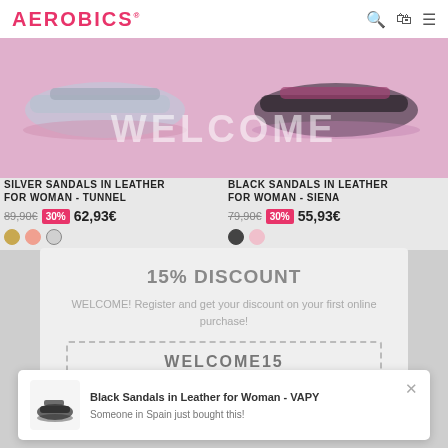AEROBICS
[Figure (photo): Pink/silver sandal product image on pink background (left side)]
[Figure (photo): Black/dark sandal product image on pink background (right side)]
WELCOME
SILVER SANDALS IN LEATHER FOR WOMAN - TUNNEL
89,90€  30%  62,93€
BLACK SANDALS IN LEATHER FOR WOMAN - SIENA
79,90€  30%  55,93€
15% DISCOUNT
WELCOME! Register and get your discount on your first online purchase!
WELCOME15
OK, GOT IT
Black Sandals in Leather for Woman - VAPY
Someone in Spain just bought this!